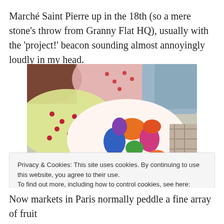Marché Saint Pierre up in the 18th (so a mere stone's throw from Granny Flat HQ), usually with the 'project!' beacon sounding almost annoyingly loudly in my head.
[Figure (photo): A colorful pile of folded fabrics with various patterns including floral, polka dot, and plaid designs in blue, orange, pink, yellow, and green.]
Privacy & Cookies: This site uses cookies. By continuing to use this website, you agree to their use.
To find out more, including how to control cookies, see here: Cookie Policy
Now markets in Paris normally peddle a fine array of fruit